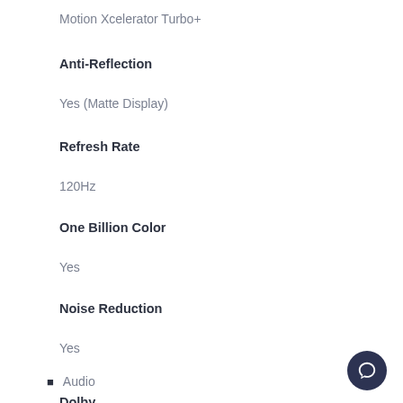Motion Xcelerator Turbo+
Anti-Reflection
Yes (Matte Display)
Refresh Rate
120Hz
One Billion Color
Yes
Noise Reduction
Yes
Audio
Dolby
Yes